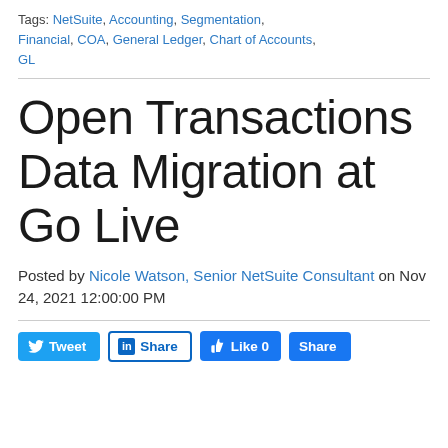Tags: NetSuite, Accounting, Segmentation, Financial, COA, General Ledger, Chart of Accounts, GL
Open Transactions Data Migration at Go Live
Posted by Nicole Watson, Senior NetSuite Consultant on Nov 24, 2021 12:00:00 PM